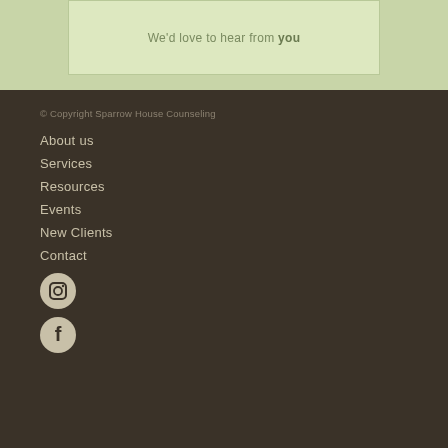We'd love to hear from you
© Copyright Sparrow House Counseling
About us
Services
Resources
Events
New Clients
Contact
[Figure (illustration): Instagram icon circle]
[Figure (illustration): Facebook icon circle]